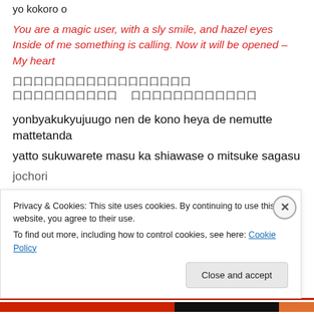yo kokoro o
You are a magic user, with a sly smile, and hazel eyes
Inside of me something is calling. Now it will be opened –
My heart
[Japanese characters line 1]
[Japanese characters line 2]
yonbyakukyujuugo nen de kono heya de nemutte mattetanda
yatto sukuwarete masu ka shiawase o mitsuke sagasu
jochori
Privacy & Cookies: This site uses cookies. By continuing to use this website, you agree to their use.
To find out more, including how to control cookies, see here: Cookie Policy
Close and accept